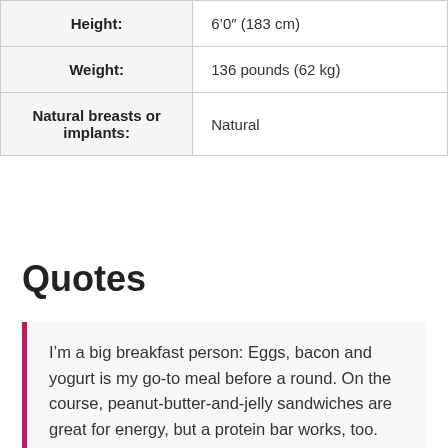|  |  |
| --- | --- |
| Height: | 6‘0” (183 cm) |
| Weight: | 136 pounds (62 kg) |
| Natural breasts or implants: | Natural |
Quotes
I’m a big breakfast person: Eggs, bacon and yogurt is my go-to meal before a round. On the course, peanut-butter-and-jelly sandwiches are great for energy, but a protein bar works, too.